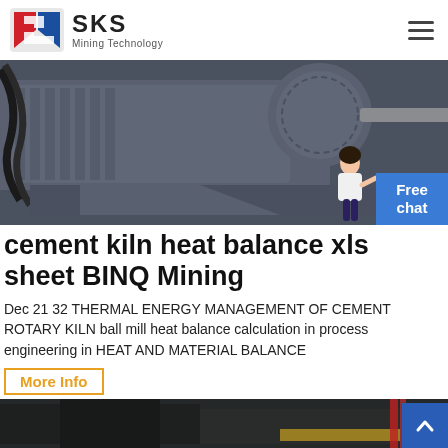SKS Mining Technology
[Figure (photo): Industrial mining machinery — large electric motor and mechanical equipment in grey/dark tones, with a woman figure and blue Free chat button overlay on right side]
cement kiln heat balance xls sheet BINQ Mining
Dec 21 32 THERMAL ENERGY MANAGEMENT OF CEMENT ROTARY KILN ball mill heat balance calculation in process engineering in HEAT AND MATERIAL BALANCE
More Info
[Figure (photo): Bottom strip showing industrial equipment in dark tones]